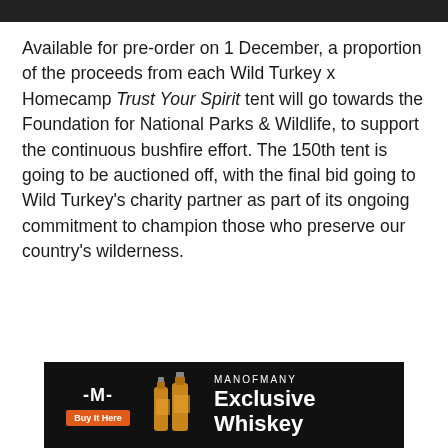Available for pre-order on 1 December, a proportion of the proceeds from each Wild Turkey x Homecamp Trust Your Spirit tent will go towards the Foundation for National Parks & Wildlife, to support the continuous bushfire effort. The 150th tent is going to be auctioned off, with the final bid going to Wild Turkey's charity partner as part of its ongoing commitment to champion those who preserve our country's wilderness.
[Figure (infographic): Man of Many advertisement banner with dark background, M logo, orange Buy It Here button, whiskey bottle images, MANOFMANY branding and 'Exclusive Whiskey' tagline]